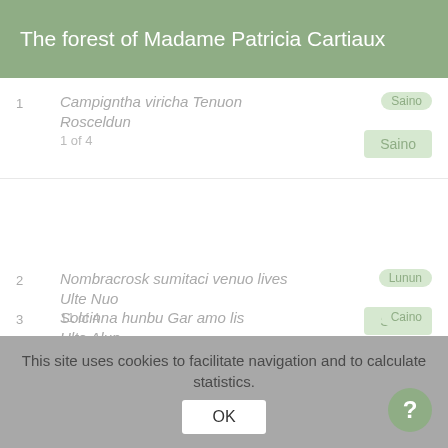The forest of Madame Patricia Cartiaux
Campigntha viricha Tenuon Rosceldun 1 of 4
Nombracrosk sumitaci venuo lives Ulte Nuo 11 of 4
Solcinna hunbu Gar amo lis Ulte Alun 1 of 4
This site uses cookies to facilitate navigation and to calculate statistics.